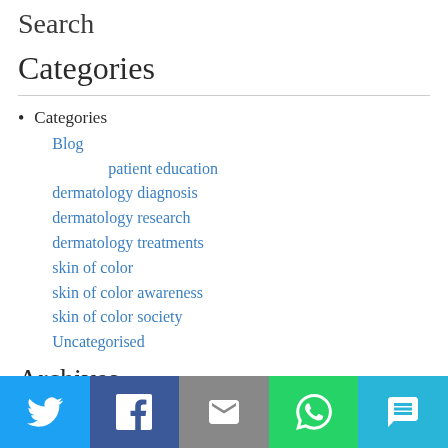Search
Categories
Categories
Blog
patient education
dermatology diagnosis
dermatology research
dermatology treatments
skin of color
skin of color awareness
skin of color society
Uncategorised
Archives